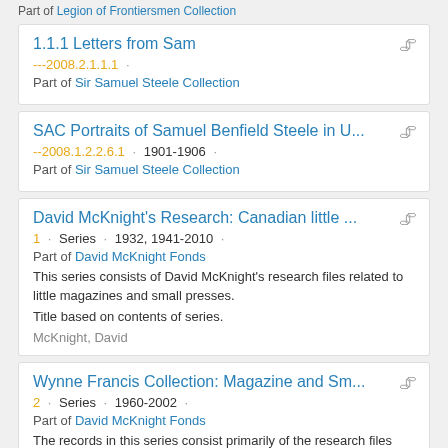Part of Legion of Frontiersmen Collection
1.1.1 Letters from Sam
---2008.2.1.1.1 · Part of Sir Samuel Steele Collection
SAC Portraits of Samuel Benfield Steele in U...
--2008.1.2.2.6.1 · 1901-1906 · Part of Sir Samuel Steele Collection
David McKnight's Research: Canadian little ...
1 · Series · 1932, 1941-2010 · Part of David McKnight Fonds
This series consists of David McKnight's research files related to little magazines and small presses. Title based on contents of series.
McKnight, David
Wynne Francis Collection: Magazine and Sm...
2 · Series · 1960-2002 · Part of David McKnight Fonds
The records in this series consist primarily of the research files maintained by Wynne Francis related to her collection of